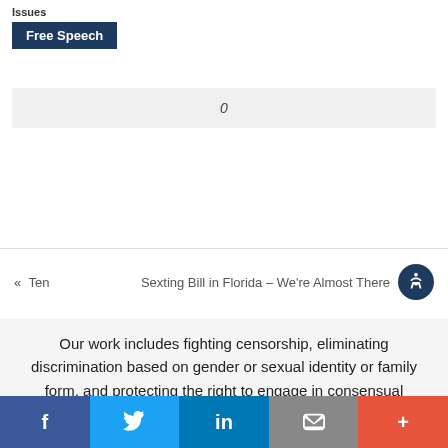Issues
Free Speech
0
« Ten
Sexting Bill in Florida – We're Almost There
Our work includes fighting censorship, eliminating discrimination based on gender or sexual identity or family form, and protecting the right to engage in consensual sexual activity and expression. We do this through advocacy, education, and coalition